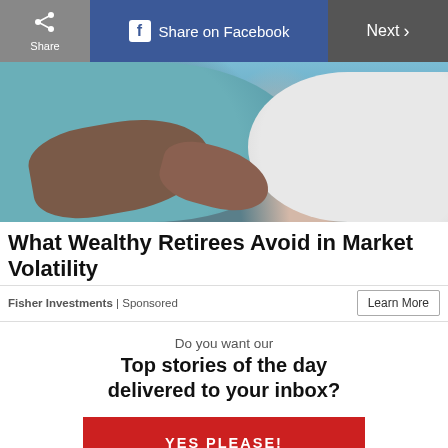Share | Share on Facebook | Next >
[Figure (photo): Elderly couple embracing — man in teal shirt with arm around woman in white shirt, against a blue background]
What Wealthy Retirees Avoid in Market Volatility
Fisher Investments | Sponsored
Do you want our Top stories of the day delivered to your inbox?
YES PLEASE!
NO THANKS